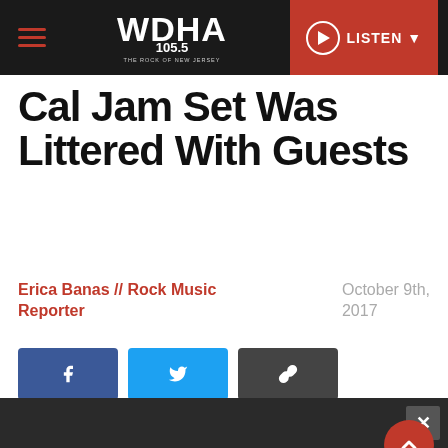WDHA 105.5 – THE ROCK OF NEW JERSEY | LISTEN
Cal Jam Set Was Littered With Guests
Erica Banas // Rock Music Reporter
October 9th, 2017
[Figure (other): Social share buttons: Facebook, Twitter, and link/copy buttons]
[Figure (photo): Concert photo — performer on stage with blue stage lighting, pointing upward, crowd visible]